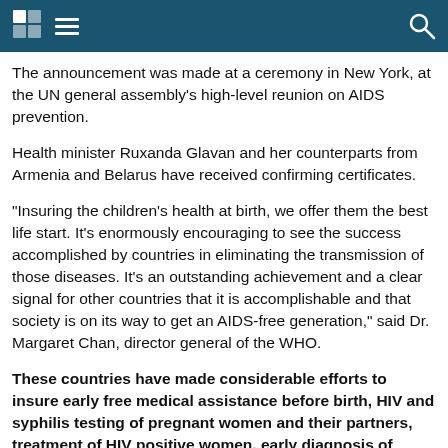[navigation bar with grid icon, menu icon, search icon]
The announcement was made at a ceremony in New York, at the UN general assembly’s high-level reunion on AIDS prevention.
Health minister Ruxanda Glavan and her counterparts from Armenia and Belarus have received confirming certificates.
“Insuring the children’s health at birth, we offer them the best life start. It’s enormously encouraging to see the success accomplished by countries in eliminating the transmission of those diseases. It’s an outstanding achievement and a clear signal for other countries that it is accomplishable and that society is on its way to get an AIDS-free generation,” said Dr. Margaret Chan, director general of the WHO.
These countries have made considerable efforts to insure early free medical assistance before birth, HIV and syphilis testing of pregnant women and their partners, treatment of HIV positive women, early diagnosis of babies, free distribution of powder milk and community